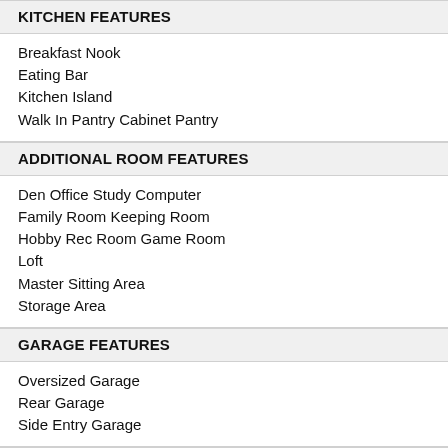KITCHEN FEATURES
Breakfast Nook
Eating Bar
Kitchen Island
Walk In Pantry Cabinet Pantry
ADDITIONAL ROOM FEATURES
Den Office Study Computer
Family Room Keeping Room
Hobby Rec Room Game Room
Loft
Master Sitting Area
Storage Area
GARAGE FEATURES
Oversized Garage
Rear Garage
Side Entry Garage
ENTRYWAY
Friend S Entry